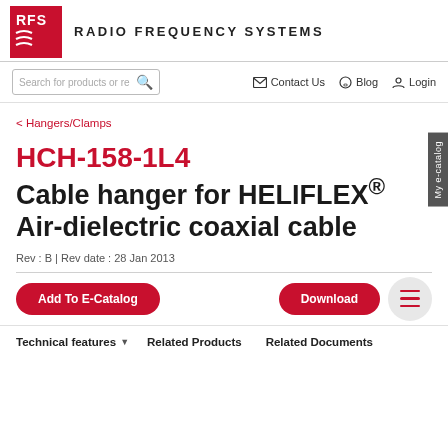RFS RADIO FREQUENCY SYSTEMS
Search for products or re | Contact Us | Blog | Login
< Hangers/Clamps
HCH-158-1L4 Cable hanger for HELIFLEX® Air-dielectric coaxial cable
Rev : B | Rev date : 28 Jan 2013
Add To E-Catalog | Download
Technical features ▼   Related Products   Related Documents